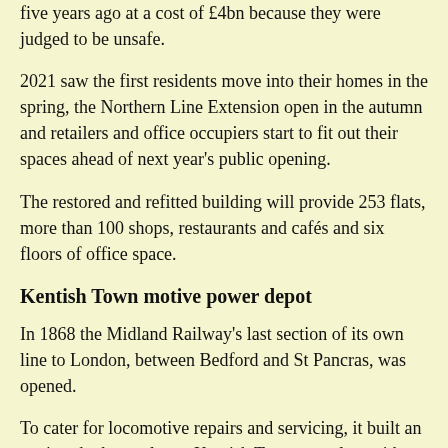five years ago at a cost of £4bn because they were judged to be unsafe.
2021 saw the first residents move into their homes in the spring, the Northern Line Extension open in the autumn and retailers and office occupiers start to fit out their spaces ahead of next year's public opening.
The restored and refitted building will provide 253 flats, more than 100 shops, restaurants and cafés and six floors of office space.
Kentish Town motive power depot
In 1868 the Midland Railway's last section of its own line to London, between Bedford and St Pancras, was opened.
To cater for locomotive repairs and servicing, it built an engine shed complex at Kentish Town complete with a repair shop. The main structures were two rectangular round houses with a central turntable and stabling lines radiating outwards. This layout enabled any engine to be moved without having to shunt any other engines; an operationally flexible arrangement compared with the straight shed.